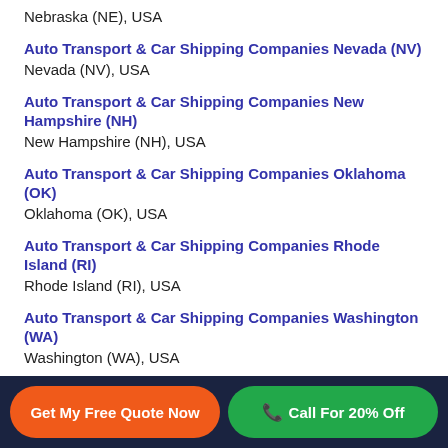Nebraska (NE), USA
Auto Transport & Car Shipping Companies Nevada (NV)
Nevada (NV), USA
Auto Transport & Car Shipping Companies New Hampshire (NH)
New Hampshire (NH), USA
Auto Transport & Car Shipping Companies Oklahoma (OK)
Oklahoma (OK), USA
Auto Transport & Car Shipping Companies Rhode Island (RI)
Rhode Island (RI), USA
Auto Transport & Car Shipping Companies Washington (WA)
Washington (WA), USA
Get My Free Quote Now | Call For 20% Off